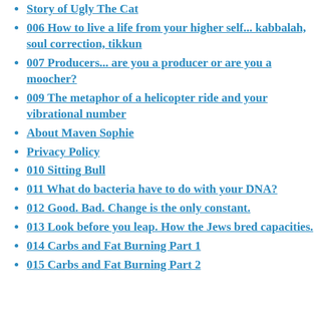Story of Ugly The Cat
006 How to live a life from your higher self... kabbalah, soul correction, tikkun
007 Producers... are you a producer or are you a moocher?
009 The metaphor of a helicopter ride and your vibrational number
About Maven Sophie
Privacy Policy
010 Sitting Bull
011 What do bacteria have to do with your DNA?
012 Good. Bad. Change is the only constant.
013 Look before you leap. How the Jews bred capacities.
014 Carbs and Fat Burning Part 1
015 Carbs and Fat Burning Part 2